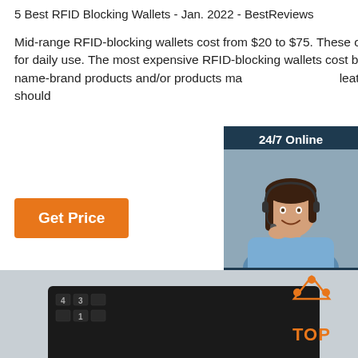5 Best RFID Blocking Wallets - Jan. 2022 - BestReviews
Mid-range RFID-blocking wallets cost from $20 to $75. These often have a traditional look and work well for daily use. The most expensive RFID-blocking wallets cost between $80 and $200 and tend to be name-brand products and/or products ma… leather. These are well-designed wallets that should…
[Figure (photo): Customer service representative woman with headset, with '24/7 Online' header, 'Click here for free chat!' text, and orange QUOTATION button]
[Figure (photo): Laptop keyboard with USB cable and card reader plugged in]
[Figure (logo): Orange TOP badge with triangle dots above the word TOP]